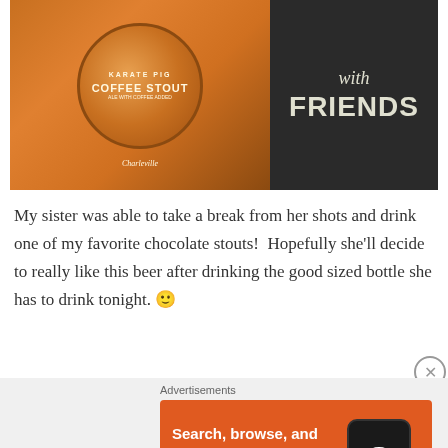[Figure (photo): A bottle of Charleville Karate Pig Coffee Stout beer next to a dark chalkboard sign reading 'with FRIENDS']
My sister was able to take a break from her shots and drink one of my favorite chocolate stouts!  Hopefully she'll decide to really like this beer after drinking the good sized bottle she has to drink tonight. 🙂
Advertisements
[Figure (screenshot): DuckDuckGo advertisement: Search, browse, and email with more privacy. All in One Free App. Shows phone mockup with DuckDuckGo logo.]